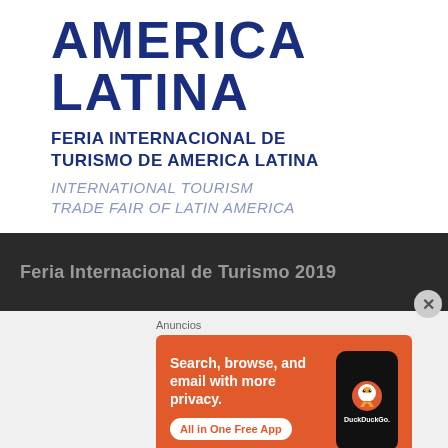[Figure (logo): America Latina tourism fair logo with large bold dark blue text 'AMERICA LATINA', subtitle in dark blue 'FERIA INTERNACIONAL DE TURISMO DE AMERICA LATINA', and italic grey subtitle 'INTERNATIONAL TOURISM TRADE FAIR OF LATIN AMERICA']
Feria Internacional de Turismo 2019
Anuncios
[Figure (screenshot): DuckDuckGo advertisement banner with orange background. Text: 'Search, browse, and email with more privacy. All in One Free App' with a phone mockup showing the DuckDuckGo logo and wordmark.]